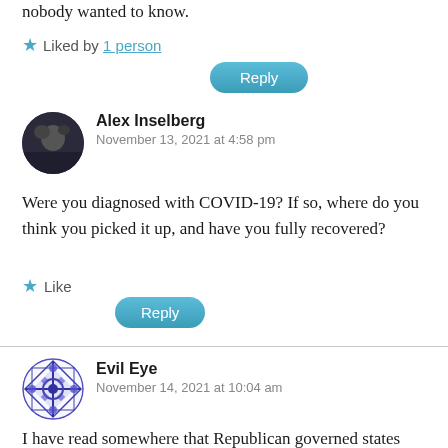nobody wanted to know.
★ Liked by 1 person
Reply
Alex Inselberg
November 13, 2021 at 4:58 pm
Were you diagnosed with COVID-19? If so, where do you think you picked it up, and have you fully recovered?
★ Like
Reply
Evil Eye
November 14, 2021 at 10:04 am
I have read somewhere that Republican governed states such as Florida and Texas has under recorded Covid deaths by as much as 50%. Even Democratic states have under-reported deaths by as much as 50%. Thus the death toll in the US from